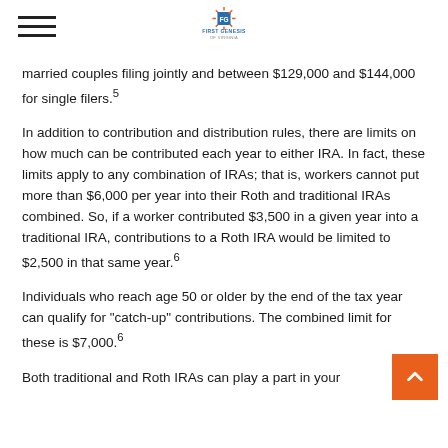First Genesis of Virginia logo and navigation
married couples filing jointly and between $129,000 and $144,000 for single filers.5
In addition to contribution and distribution rules, there are limits on how much can be contributed each year to either IRA. In fact, these limits apply to any combination of IRAs; that is, workers cannot put more than $6,000 per year into their Roth and traditional IRAs combined. So, if a worker contributed $3,500 in a given year into a traditional IRA, contributions to a Roth IRA would be limited to $2,500 in that same year.6
Individuals who reach age 50 or older by the end of the tax year can qualify for "catch-up" contributions. The combined limit for these is $7,000.6
Both traditional and Roth IRAs can play a part in your